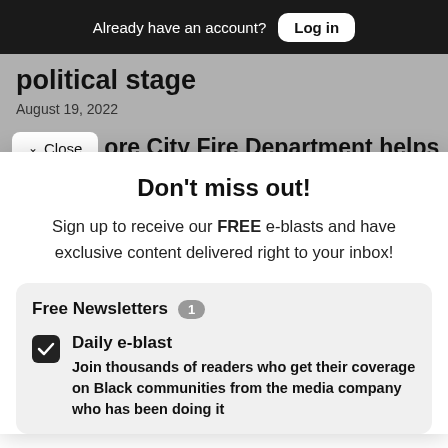Already have an account? Log in
political stage
August 19, 2022
✓ Close   ore City Fire Department helps
Don't miss out!
Sign up to receive our FREE e-blasts and have exclusive content delivered right to your inbox!
Free Newsletters 1
Daily e-blast — Join thousands of readers who get their coverage on Black communities from the media company who has been doing it